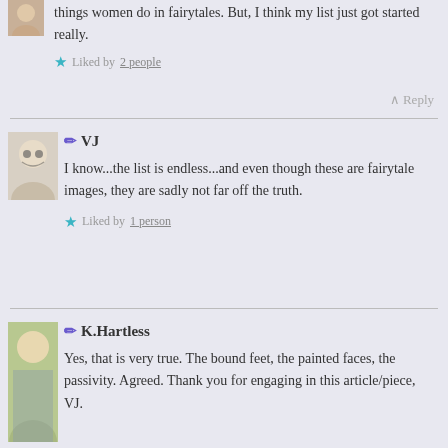things women do in fairytales. But, I think my list just got started really.
Liked by 2 people
Reply
VJ
I know...the list is endless...and even though these are fairytale images, they are sadly not far off the truth.
Liked by 1 person
K.Hartless
Yes, that is very true. The bound feet, the painted faces, the passivity. Agreed. Thank you for engaging in this article/piece, VJ.